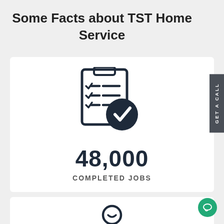Some Facts about TST Home Service
[Figure (illustration): Checklist with checkmark icon — completed jobs]
48,000
COMPLETED JOBS
[Figure (illustration): Person on hand icon — customer satisfaction]